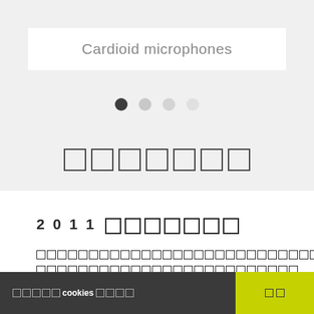Cardioid microphones
[Figure (other): Carousel pagination dots: one dark filled circle followed by three lighter grey circles]
[Figure (other): Row of seven empty squares (icon placeholders)]
2011 □□□□□□□□□
□□□□□□□□□□□□□□□□□□□□□□□□□□□□□□□□□□□□□□□□□□□□□□□□□□□□□□□□□□□□□□□□□□□□□□□□□□□□□□□□□□□□□□□□□□□□□□□□□□□□□□□□□□□□□□□□□□□□□□□□□□□□□□□□□□
□□□□□cookies□□□□    □□